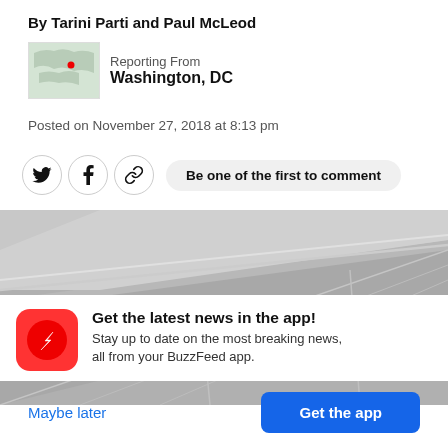By Tarini Parti and Paul McLeod
Reporting From Washington, DC
Posted on November 27, 2018 at 8:13 pm
[Figure (screenshot): Social sharing icons (Twitter, Facebook, link) and 'Be one of the first to comment' button]
[Figure (photo): Photo of a building exterior showing angular gray panels and roof lines]
Get the latest news in the app! Stay up to date on the most breaking news, all from your BuzzFeed app.
Maybe later
Get the app